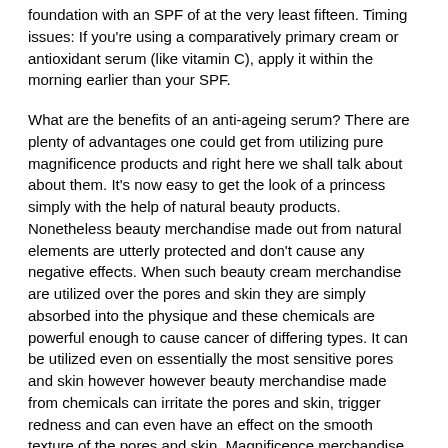foundation with an SPF of at the very least fifteen. Timing issues: If you're using a comparatively primary cream or antioxidant serum (like vitamin C), apply it within the morning earlier than your SPF.
What are the benefits of an anti-ageing serum? There are plenty of advantages one could get from utilizing pure magnificence products and right here we shall talk about about them. It's now easy to get the look of a princess simply with the help of natural beauty products. Nonetheless beauty merchandise made out from natural elements are utterly protected and don't cause any negative effects. When such beauty cream merchandise are utilized over the pores and skin they are simply absorbed into the physique and these chemicals are powerful enough to cause cancer of differing types. It can be utilized even on essentially the most sensitive pores and skin however however beauty merchandise made from chemicals can irritate the pores and skin, trigger redness and can even have an effect on the smooth texture of the pores and skin. Magnificence merchandise with toxic chemicals can affect the varied vital organs of the physique together with liver and kidney. InStyle journal put it in its list of 2010's greatest magnificence buys and named it the perfect anti-wrinkle treatment for normal skin. All simply to bleach the melanin from the pores and skin? Because of this, you will need to all the time put on sunglass, hat, and scarf to stop your pores and skin from the extended sunlight publicity. It is vital to scrub your glasses and sunglasses a